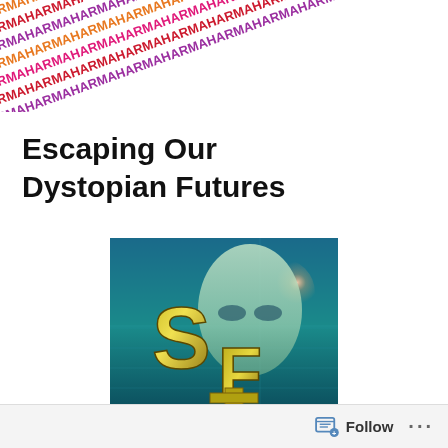[Figure (illustration): Repeating diagonal HARMA text banner in purple, orange, red, and pink colors across the top of the page]
Escaping Our Dystopian Futures
[Figure (logo): SF logo with golden 'SF' letters and alien/mask face on teal oceanic background]
Follow ...